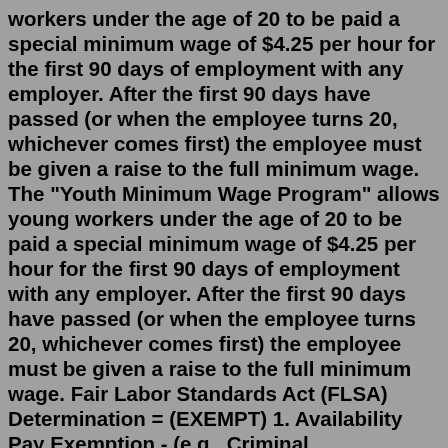workers under the age of 20 to be paid a special minimum wage of $4.25 per hour for the first 90 days of employment with any employer. After the first 90 days have passed (or when the employee turns 20, whichever comes first) the employee must be given a raise to the full minimum wage. The "Youth Minimum Wage Program" allows young workers under the age of 20 to be paid a special minimum wage of $4.25 per hour for the first 90 days of employment with any employer. After the first 90 days have passed (or when the employee turns 20, whichever comes first) the employee must be given a raise to the full minimum wage. Fair Labor Standards Act (FLSA) Determination = (EXEMPT) 1. Availability Pay Exemption - (e.g., Criminal Investigators, U.S. Customs and Border Protection pilots who are also Law Enforcement Officers). 2. Foreign Exemption - (Note: Puerto Rico and certain other locations do not qualify for this exemption - See 5 CFR 551.104 for a list of Nonexempt areas.)Nov 26, 2019 · The FLSA mandates employers to pay non-